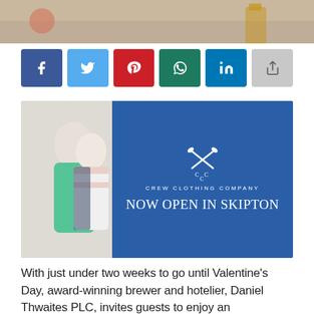[Figure (photo): Top portion of a photo showing a flat lay scene with items on carpet, partially visible]
[Figure (infographic): Social media share buttons row: Facebook (dark blue), Twitter (light blue), Pinterest (red), WhatsApp (dark teal), LinkedIn (blue), Share (grey)]
[Figure (photo): Crew Clothing Company advertisement banner showing a couple (man in green jumper, woman in striped gilet) against blue background with text 'CREW CLOTHING COMPANY NOW OPEN IN SKIPTON']
With just under two weeks to go until Valentine's Day, award-winning brewer and hotelier, Daniel Thwaites PLC, invites guests to enjoy an unforgettable experience, whether that be dinner for two or a night away across its unique collection